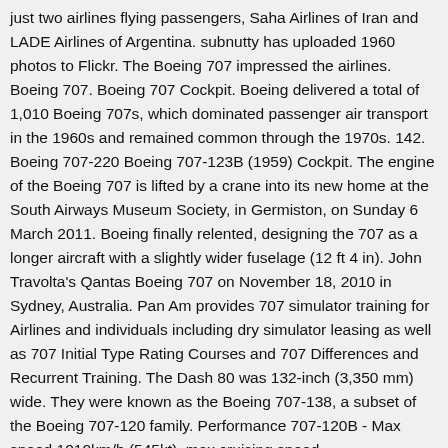just two airlines flying passengers, Saha Airlines of Iran and LADE Airlines of Argentina. subnutty has uploaded 1960 photos to Flickr. The Boeing 707 impressed the airlines. Boeing 707. Boeing 707 Cockpit. Boeing delivered a total of 1,010 Boeing 707s, which dominated passenger air transport in the 1960s and remained common through the 1970s. 142. Boeing 707-220 Boeing 707-123B (1959) Cockpit. The engine of the Boeing 707 is lifted by a crane into its new home at the South Airways Museum Society, in Germiston, on Sunday 6 March 2011. Boeing finally relented, designing the 707 as a longer aircraft with a slightly wider fuselage (12 ft 4 in). John Travolta's Qantas Boeing 707 on November 18, 2010 in Sydney, Australia. Pan Am provides 707 simulator training for Airlines and individuals including dry simulator leasing as well as 707 Initial Type Rating Courses and 707 Differences and Recurrent Training. The Dash 80 was 132-inch (3,350 mm) wide. They were known as the Boeing 707-138, a subset of the Boeing 707-120 family. Performance 707-120B - Max speed 1010km/h (545kt), max cruising speed